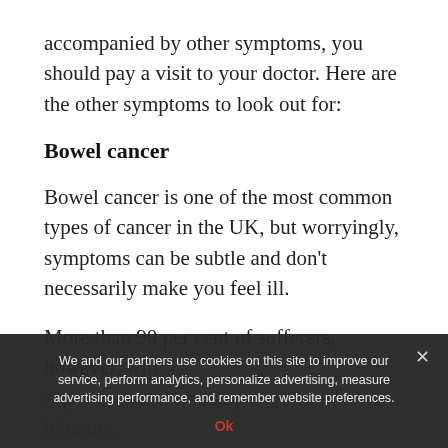accompanied by other symptoms, you should pay a visit to your doctor. Here are the other symptoms to look out for:
Bowel cancer
Bowel cancer is one of the most common types of cancer in the UK, but worryingly, symptoms can be subtle and don't necessarily make you feel ill.
More than 90 per cent of sufferers, however, will experience abdominal pain, discomfort or bloating, an abnormal change in bowel habits or blood in bowel movements.
Most people with the symptoms will also have a bowel condition...
We and our partners use cookies on this site to improve our service, perform analytics, personalize advertising, measure advertising performance, and remember website preferences.